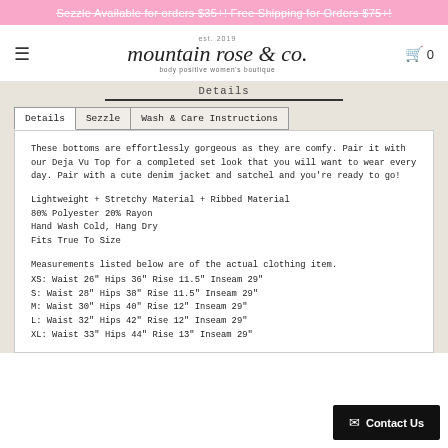Sezzle Available for orders $35+! Free Shipping for Orders $75+!
[Figure (logo): Mountain Rose & Co. script logo with tagline 'body positive women's boutique']
Details
These bottoms are effortlessly gorgeous as they are comfy. Pair it with our Deja Vu Top for a completed set look that you will want to wear every day. Pair with a cute denim jacket and satchel and you're ready to go!
Lightweight + Stretchy Material + Ribbed Material
80% Polyester 20% Rayon
Hand Wash Cold, Hang Dry
Fits True To Size
Measurements listed below are of the actual clothing item.
XS: Waist 26" Hips 36" Rise 11.5" Inseam 29"
S: Waist 28" Hips 38" Rise 11.5" Inseam 29"
M: Waist 30" Hips 40" Rise 12" Inseam 29"
L: Waist 32" Hips 42" Rise 12" Inseam 29"
XL: Waist 33" Hips 44" Rise 13" Inseam 29"